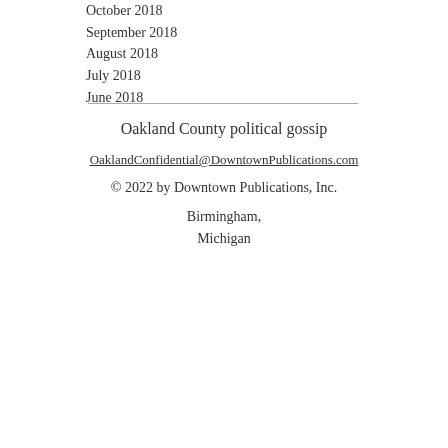October 2018
September 2018
August 2018
July 2018
June 2018
Oakland County political gossip
OaklandConfidential@DowntownPublications.com
© 2022 by Downtown Publications, Inc.
Birmingham, Michigan